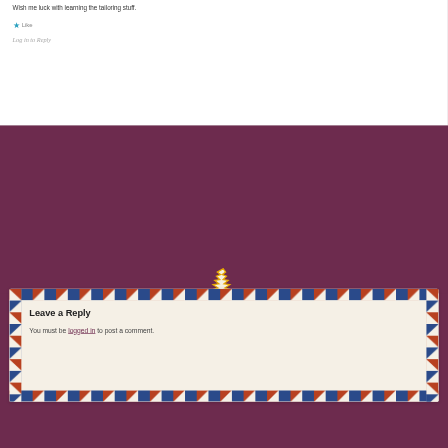Wish me luck with learning the tailoring stuff.
★ Like
Log in to Reply
[Figure (illustration): Decorative jagged-edge paper or fabric piece icon in white/cream with gold/yellow outline on purple background]
Leave a Reply
You must be logged in to post a comment.